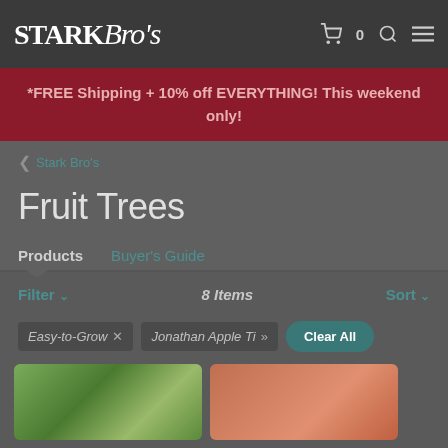Stark Bro's — Navigation bar with cart (0), search, and menu icons
*FREE Shipping + 10% off EVERYTHING! This weekend only!
< Stark Bro's
Fruit Trees
Products   Buyer's Guide
Filter ∨   8 Items   Sort ∨
Easy-to-Grow ×   Jonathan Apple Ti »   Clear All
[Figure (photo): Two product images partially visible at the bottom: left shows green leaves/plant, right shows red/orange fruit]